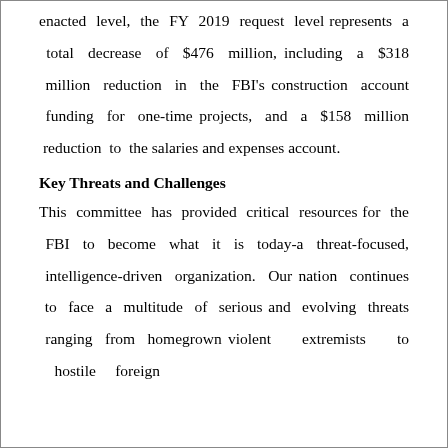enacted level, the FY 2019 request level represents a total decrease of $476 million, including a $318 million reduction in the FBI's construction account funding for one-time projects, and a $158 million reduction to the salaries and expenses account.
Key Threats and Challenges
This committee has provided critical resources for the FBI to become what it is today-a threat-focused, intelligence-driven organization. Our nation continues to face a multitude of serious and evolving threats ranging from homegrown violent extremists to hostile foreign